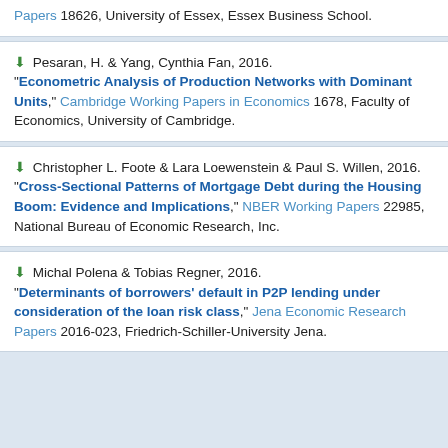Papers 18626, University of Essex, Essex Business School.
Pesaran, H. & Yang, Cynthia Fan, 2016. "Econometric Analysis of Production Networks with Dominant Units," Cambridge Working Papers in Economics 1678, Faculty of Economics, University of Cambridge.
Christopher L. Foote & Lara Loewenstein & Paul S. Willen, 2016. "Cross-Sectional Patterns of Mortgage Debt during the Housing Boom: Evidence and Implications," NBER Working Papers 22985, National Bureau of Economic Research, Inc.
Michal Polena & Tobias Regner, 2016. "Determinants of borrowers' default in P2P lending under consideration of the loan risk class," Jena Economic Research Papers 2016-023, Friedrich-Schiller-University Jena.